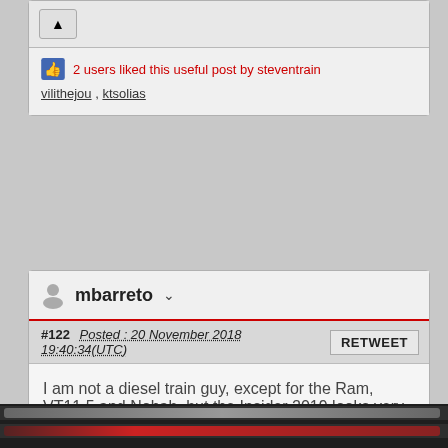[Figure (other): Vote/upvote button with eject icon]
2 users liked this useful post by steventrain
vilithejou , ktsolias
mbarreto
#122 Posted : 20 November 2018 19:40:34(UTC)
RETWEET
I am not a diesel train guy, except for the Ram, VT11.5 and Nohab, but the Insider 2019 looks very good.
Mostly Märklin H0.